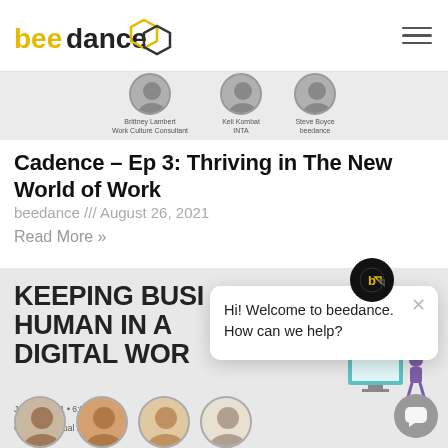beedance
[Figure (photo): Three speaker profile photos partially visible at top: Brittney Lambert (Work Culture Consultant), Keli Kambat (INTA), Steve Boyce (beedance)]
Cadence – Ep 3: Thriving in The New World of Work
beedance /// August 26, 2021
Read More »
KEEPING BUSI HUMAN IN A DIGITAL WOR
July 28, 2021 • 6:00 PM EST
Cadence Virtual Environment
[Figure (photo): Four speaker profile photos partially visible at bottom of page]
Hi! Welcome to beedance. How can we help?